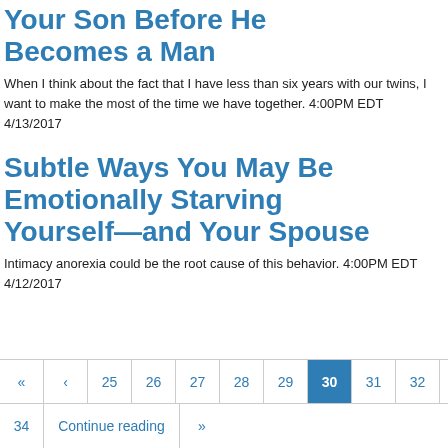Your Son Before He Becomes a Man
When I think about the fact that I have less than six years with our twins, I want to make the most of the time we have together. 4:00PM EDT 4/13/2017
Subtle Ways You May Be Emotionally Starving Yourself—and Your Spouse
Intimacy anorexia could be the root cause of this behavior. 4:00PM EDT 4/12/2017
« ‹ 25 26 27 28 29 30 31 32 33 34 Continue reading »